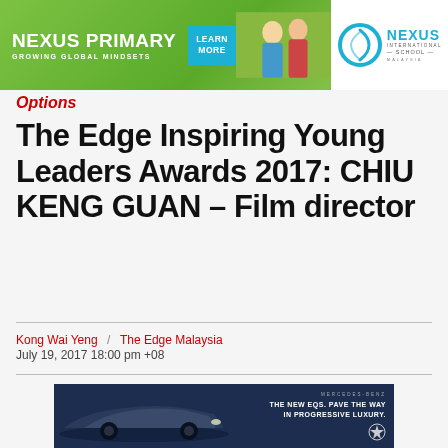[Figure (other): Nexus Primary school advertisement banner with green background, two smiling children, Learn More button, and Nexus International School Malaysia logo]
Options
The Edge Inspiring Young Leaders Awards 2017: CHIU KENG GUAN – Film director
Kong Wai Yeng  /  The Edge Malaysia
July 19, 2017 18:00 pm +08
[Figure (other): Mercedes-Benz advertisement with dark blue background showing EQS car with text: THE NEW EQS. PAVE THE WAY IN PROGRESSIVE LUXURY.]